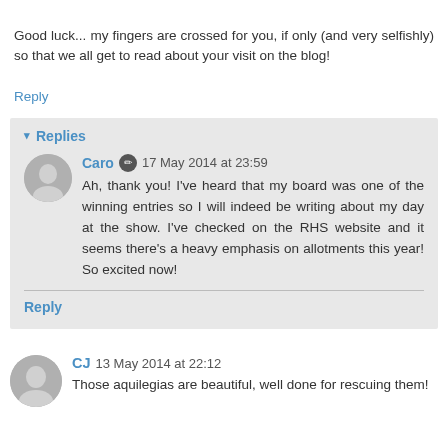Good luck... my fingers are crossed for you, if only (and very selfishly) so that we all get to read about your visit on the blog!
Reply
▾ Replies
Caro  17 May 2014 at 23:59
Ah, thank you! I've heard that my board was one of the winning entries so I will indeed be writing about my day at the show. I've checked on the RHS website and it seems there's a heavy emphasis on allotments this year! So excited now!
Reply
CJ  13 May 2014 at 22:12
Those aquilegias are beautiful, well done for rescuing them!